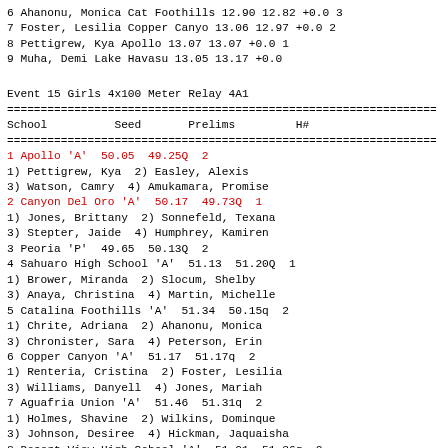| # | Name | School | Seed | Finals | Wind | Place |
| --- | --- | --- | --- | --- | --- | --- |
| 6 | Ahanonu, Monica | Cat Foothills | 12.90 | 12.82 | +0.0 | 3 |
| 7 | Foster, Lesilia | Copper Canyo | 13.06 | 12.97 | +0.0 | 2 |
| 8 | Pettigrew, Kya | Apollo | 13.07 | 13.07 | +0.0 | 1 |
| 9 | Muha, Demi | Lake Havasu | 13.05 | 13.17 | +0.0 |  |
Event 15 Girls 4x100 Meter Relay 4A1
| School | Seed | Prelims | H# |
| --- | --- | --- | --- |
| 1 Apollo 'A' | 50.05 | 49.25Q | 2 |
| 1) Pettigrew, Kya  2) Easley, Alexis |  |  |  |
| 3) Watson, Camry  4) Amukamara, Promise |  |  |  |
| 2 Canyon Del Oro 'A' | 50.17 | 49.73Q | 1 |
| 1) Jones, Brittany  2) Sonnefeld, Texana |  |  |  |
| 3) Stepter, Jaide  4) Humphrey, Kamiren |  |  |  |
| 3 Peoria 'P' | 49.65 | 50.13Q | 2 |
| 4 Sahuaro High School 'A' | 51.13 | 51.20Q | 1 |
| 1) Brower, Miranda  2) Slocum, Shelby |  |  |  |
| 3) Anaya, Christina  4) Martin, Michelle |  |  |  |
| 5 Catalina Foothills 'A' | 51.34 | 50.15q | 2 |
| 1) Chrite, Adriana  2) Ahanonu, Monica |  |  |  |
| 3) Chronister, Sara  4) Peterson, Erin |  |  |  |
| 6 Copper Canyon 'A' | 51.17 | 51.17q | 2 |
| 1) Renteria, Cristina  2) Foster, Lesilia |  |  |  |
| 3) Williams, Danyell  4) Jones, Mariah |  |  |  |
| 7 Aguafria Union 'A' | 51.46 | 51.31q | 2 |
| 1) Holmes, Shavine  2) Wilkins, Dominque |  |  |  |
| 3) Johnson, Desiree  4) Hickman, Jaquaisha |  |  |  |
| 8 Desert View High School 'A' | 51.01 | 51.36q | 2 |
| 1) Rosas, Alejandra  2) Smith, Dimitria |  |  |  |
| 3) Martinez, Delia  4) Zamorano, Anaiz |  |  |  |
| 8 Shadow Mountain 'A' | 50.88 | 51.36q | 1 |
| 1) Shovestull, Maya  2) Baddour, Natalie |  |  |  |
| 3) MacKenzie, Lauren  4) Lindsey, Andrea |  |  |  |
| 10 Lake Havasu 'A' | 51.19 | 51.58 | 1 |